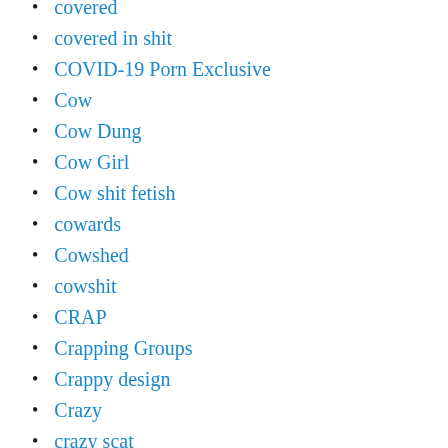covered
covered in shit
COVID-19 Porn Exclusive
Cow
Cow Dung
Cow Girl
Cow shit fetish
cowards
Cowshed
cowshit
CRAP
Crapping Groups
Crappy design
Crazy
crazy scat
Cream
Creampie JAV